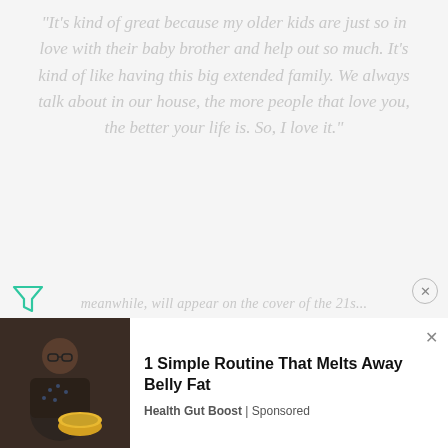“It’s kind of great because my older kids are just so in love with their baby brother and help out so much. It’s kind of like having this big extended family. We always talk about in our house, the more people that love you, the better your life is. So, I love it.”
meanwhile, will appear on the cover of the 21s...
[Figure (screenshot): Advertisement bar showing 'My Firestone' with ad badge and close button]
[Figure (screenshot): Bottom advertisement overlay: '1 Simple Routine That Melts Away Belly Fat' by Health Gut Boost | Sponsored, with image of a man and close button]